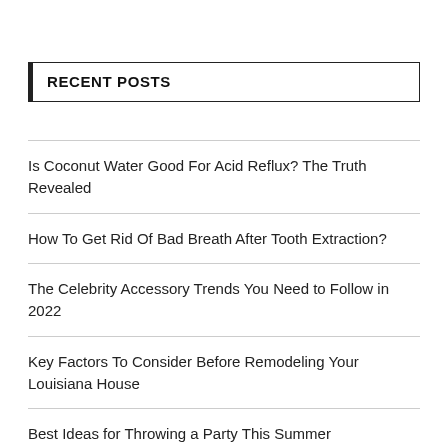RECENT POSTS
Is Coconut Water Good For Acid Reflux? The Truth Revealed
How To Get Rid Of Bad Breath After Tooth Extraction?
The Celebrity Accessory Trends You Need to Follow in 2022
Key Factors To Consider Before Remodeling Your Louisiana House
Best Ideas for Throwing a Party This Summer